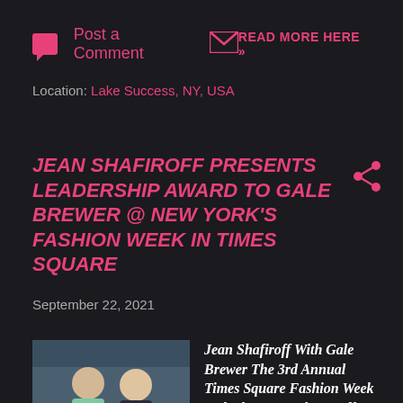Post a Comment  [envelope icon]
READ MORE HERE »
Location: Lake Success, NY, USA
JEAN SHAFIROFF PRESENTS LEADERSHIP AWARD TO GALE BREWER @ NEW YORK'S FASHION WEEK IN TIMES SQUARE
September 22, 2021
[Figure (photo): Photo of Jean Shafiroff with Gale Brewer at Times Square Fashion Week]
Jean Shafiroff With Gale Brewer The 3rd Annual Times Square Fashion Week took place at Father Duffy Square in the heart of Times Square. Fashion and Philanthro...